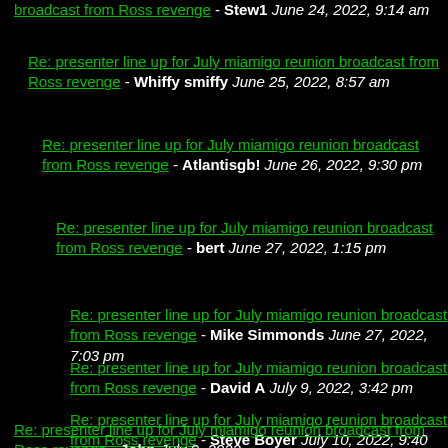Re: presenter line up for July miamigo reunion broadcast from Ross revenge - Stew1 June 24, 2022, 9:14 am
Re: presenter line up for July miamigo reunion broadcast from Ross revenge - Whiffy smiffy June 25, 2022, 8:57 am
Re: presenter line up for July miamigo reunion broadcast from Ross revenge - Atlantisgb! June 26, 2022, 9:30 pm
Re: presenter line up for July miamigo reunion broadcast from Ross revenge - bert June 27, 2022, 1:15 pm
Re: presenter line up for July miamigo reunion broadcast from Ross revenge - Mike Simmonds June 27, 2022, 7:03 pm
Re: presenter line up for July miamigo reunion broadcast from Ross revenge - David A July 9, 2022, 3:42 pm
Re: presenter line up for July miamigo reunion broadcast from Ross revenge - Steve Boyer July 10, 2022, 9:40 am
Re: presenter line up for July miamigo reunion broadcast from Ross revenge - John July 9, 2022